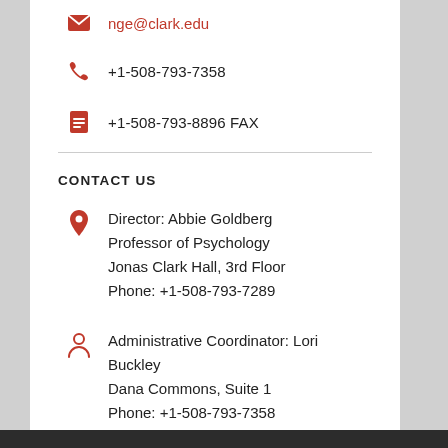nge@clark.edu (truncated/partial, shown in red at top)
+1-508-793-7358
+1-508-793-8896 FAX
CONTACT US
Director: Abbie Goldberg
Professor of Psychology
Jonas Clark Hall, 3rd Floor
Phone: +1-508-793-7289
Administrative Coordinator: Lori Buckley
Dana Commons, Suite 1
Phone: +1-508-793-7358